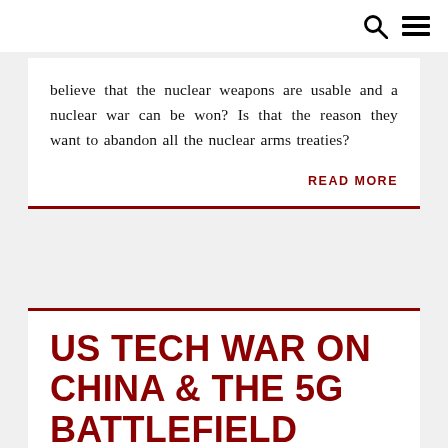🔍 ☰
believe that the nuclear weapons are usable and a nuclear war can be won? Is that the reason they want to abandon all the nuclear arms treaties?
READ MORE
US TECH WAR ON CHINA & THE 5G BATTLEFIELD